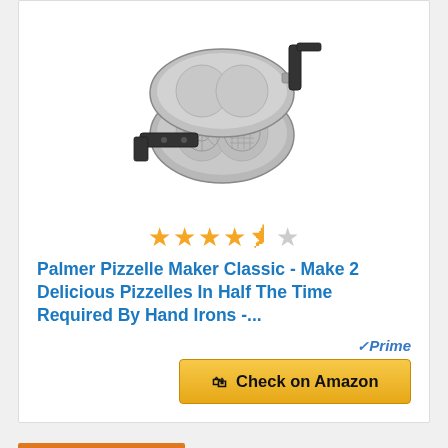[Figure (photo): Palmer Pizzelle Maker Classic product photo showing a stainless double pizzelle iron with black handles]
★★★★☆ (4.5 stars)
Palmer Pizzelle Maker Classic - Make 2 Delicious Pizzelles In Half The Time Required By Hand Irons -...
✓Prime
🛒 Check on Amazon
BESTSELLER NO. 20
[Figure (photo): Partially visible product image at bottom of page]